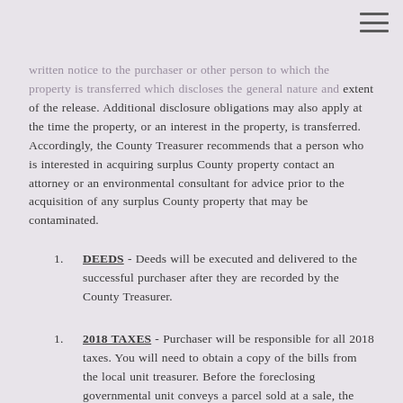written notice to the purchaser or other person to which the property is transferred which discloses the general nature and extent of the release.  Additional disclosure obligations may also apply at the time the property, or an interest in the property, is transferred.  Accordingly, the County Treasurer recommends that a person who is interested in acquiring surplus County property contact an attorney or an environmental consultant for advice prior to the acquisition of any surplus County property that may be contaminated.
DEEDS - Deeds will be executed and delivered to the successful purchaser after they are recorded by the County Treasurer.
2018 TAXES - Purchaser will be responsible for all 2018 taxes.  You will need to obtain a copy of the bills from the local unit treasurer.  Before the foreclosing governmental unit conveys a parcel sold at a sale, the purchaser shall provide the foreclosing governmental